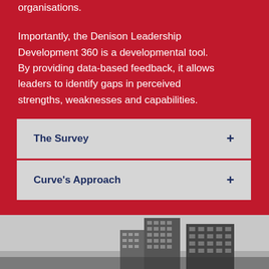organisations.
Importantly, the Denison Leadership Development 360 is a developmental tool. By providing data-based feedback, it allows leaders to identify gaps in perceived strengths, weaknesses and capabilities.
The Survey +
Curve's Approach +
[Figure (photo): Black and white photo of city buildings/skyscrapers viewed from below]